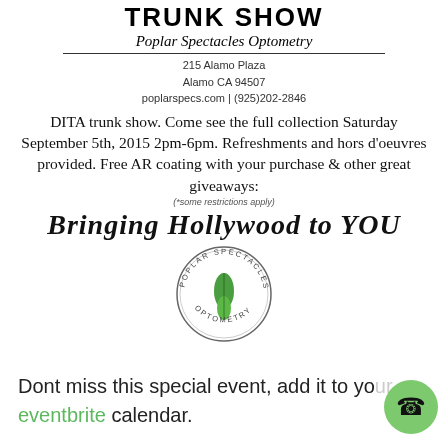TRUNK SHOW
Poplar Spectacles Optometry
215 Alamo Plaza
Alamo CA 94507
poplarspecs.com | (925)202-2846
DITA trunk show. Come see the full collection Saturday September 5th, 2015 2pm-6pm. Refreshments and hors d'oeuvres provided. Free AR coating with your purchase & other great giveaways:
(*some restrictions apply)
Bringing Hollywood to YOU
[Figure (logo): Poplar Spectacles Optometry circular logo with green leaf/tree and text around the circle]
Dont miss this special event, add it to your eventbrite calendar.